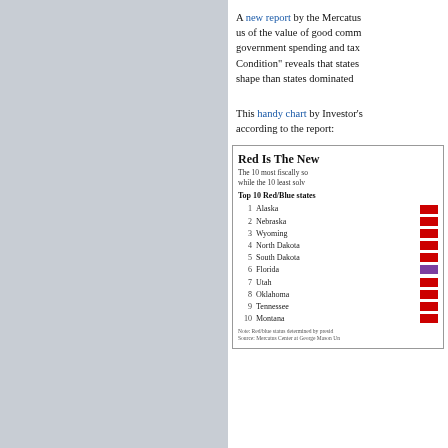A new report by the Mercatus Center reminds us of the value of good comm... government spending and tax... Condition" reveals that states... shape than states dominated...
This handy chart by Investor's... according to the report:
[Figure (infographic): Table/infographic titled 'Red Is The New...' showing the 10 most fiscally solvent (Top 10 Red/Blue states) with colored bars. States listed: 1 Alaska (red), 2 Nebraska (red), 3 Wyoming (red), 4 North Dakota (red), 5 South Dakota (red), 6 Florida (purple), 7 Utah (red), 8 Oklahoma (red), 9 Tennessee (red), 10 Montana (red). Note and source lines at bottom.]